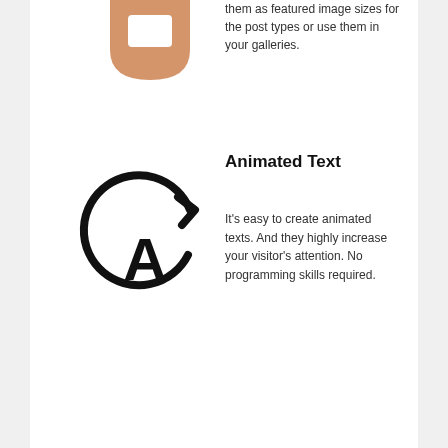them as featured image sizes for the post types or use them in your galleries.
[Figure (illustration): Circular icon with an orange/tan person silhouette (face and shoulders) inside a rounded badge shape]
Animated Text
[Figure (illustration): Black circular arrow icon with a capital letter A inside, representing animated text functionality]
It's easy to create animated texts. And they highly increase your visitor's attention. No programming skills required.